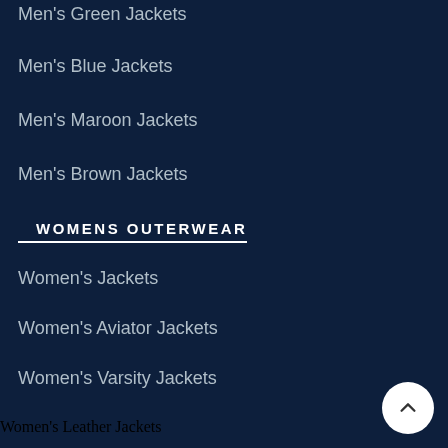Men's Green Jackets
Men's Blue Jackets
Men's Maroon Jackets
Men's Brown Jackets
WOMENS OUTERWEAR
Women's Jackets
Women's Aviator Jackets
Women's Varsity Jackets
Women's Leather Jackets
Women's Biker Jacket